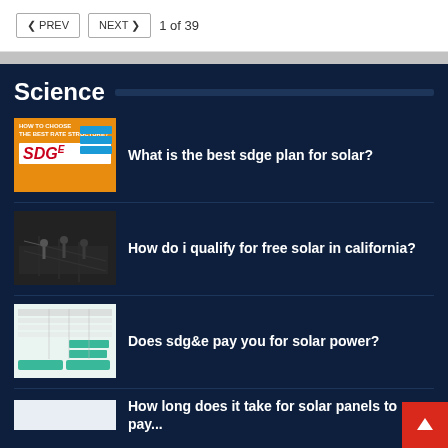PREV  NEXT  1 of 39
Science
[Figure (screenshot): SDGe rate structure thumbnail - orange background with white text 'HOW TO CHOOSE THE BEST RATE STRUCTURE?' and SDGe logo]
What is the best sdge plan for solar?
[Figure (photo): Workers installing solar panels on a rooftop - dark grayscale image]
How do i qualify for free solar in california?
[Figure (screenshot): Chart or table showing SDG&E solar power data with green highlights]
Does sdg&e pay you for solar power?
How long does it take for solar panels to pay...